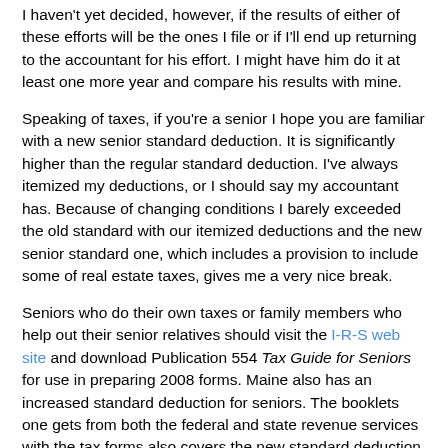I haven't yet decided, however, if the results of either of these efforts will be the ones I file or if I'll end up returning to the accountant for his effort. I might have him do it at least one more year and compare his results with mine.
Speaking of taxes, if you're a senior I hope you are familiar with a new senior standard deduction. It is significantly higher than the regular standard deduction. I've always itemized my deductions, or I should say my accountant has. Because of changing conditions I barely exceeded the old standard with our itemized deductions and the new senior standard one, which includes a provision to include some of real estate taxes, gives me a very nice break.
Seniors who do their own taxes or family members who help out their senior relatives should visit the I-R-S web site and download Publication 554 Tax Guide for Seniors for use in preparing 2008 forms. Maine also has an increased standard deduction for seniors. The booklets one gets from both the federal and state revenue services with the tax forms also covers the new standard deduction for seniors.